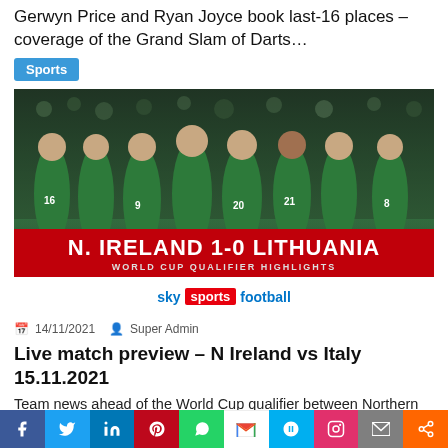Gerwyn Price and Ryan Joyce book last-16 places – coverage of the Grand Slam of Darts…
Sports
[Figure (photo): Northern Ireland football team players in green jerseys celebrating, with score overlay: N. IRELAND 1-0 LITHUANIA, WORLD CUP QUALIFIER HIGHLIGHTS, Sky Sports Football logo]
14/11/2021   Super Admin
Live match preview – N Ireland vs Italy 15.11.2021
Team news ahead of the World Cup qualifier between Northern Ireland vs Italy on Monday; kick-off…
[Figure (infographic): Social media sharing bar with icons: Facebook, Twitter, LinkedIn, Pinterest, WhatsApp, Gmail, Skype, Instagram, Email, Share]